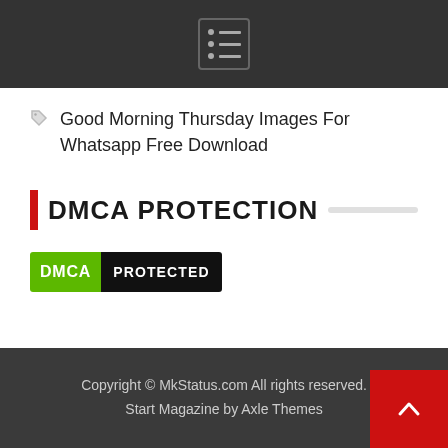[Menu icon / navigation bar]
Good Morning Thursday Images For Whatsapp Free Download
DMCA PROTECTION
[Figure (logo): DMCA Protected badge with green DMCA label and black PROTECTED label]
Copyright © MkStatus.com All rights reserved. Start Magazine by Axle Themes